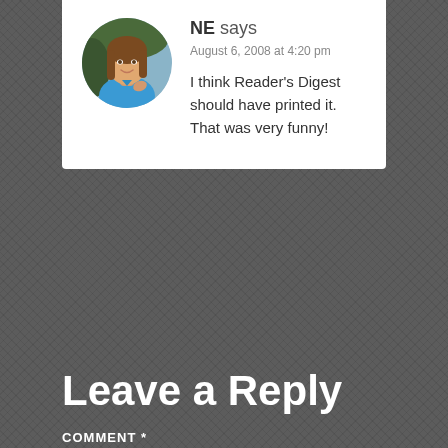[Figure (photo): Circular avatar photo of a young woman with long hair wearing a blue top, smiling]
NE says
August 6, 2008 at 4:20 pm
I think Reader's Digest should have printed it. That was very funny!
Leave a Reply
COMMENT *